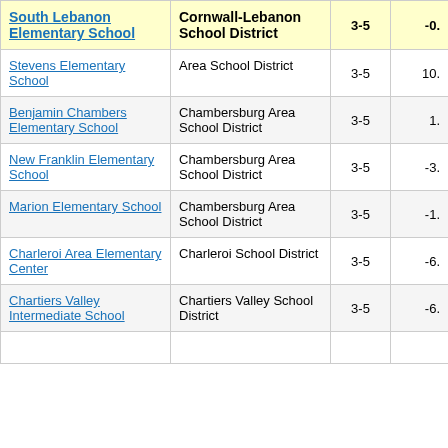| School | District | Grades | Value |
| --- | --- | --- | --- |
| South Lebanon Elementary School | Cornwall-Lebanon School District | 3-5 | -0. |
| Stevens Elementary School | Area School District | 3-5 | 10. |
| Benjamin Chambers Elementary School | Chambersburg Area School District | 3-5 | 1. |
| New Franklin Elementary School | Chambersburg Area School District | 3-5 | -3. |
| Marion Elementary School | Chambersburg Area School District | 3-5 | -1. |
| Charleroi Area Elementary Center | Charleroi School District | 3-5 | -6. |
| Chartiers Valley Intermediate School | Chartiers Valley School District | 3-5 | -6. |